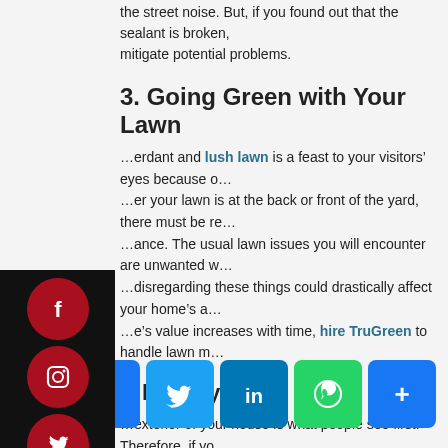the street noise. But, if you found out that the sealant is broken, mitigate potential problems.
3. Going Green with Your Lawn
A verdant and lush lawn is a feast to your visitors' eyes because of... Whether your lawn is at the back or front of the yard, there must be regular maintenance. The usual lawn issues you will encounter are unwanted weeds... disregarding these things could drastically affect your home's appearance. If one's value increases with time, hire TruGreen to handle lawn maintenance.
Takeaway
The exterior of your house is what people see first. Therefore, if you want a premium one, elevating the outside portion is the precursor to everything. With advancement in architecture and design, you can now erect your ideal home within your financial means.
[Figure (infographic): Social media share buttons: Facebook, Twitter, LinkedIn, WhatsApp, More]
[Figure (infographic): Social media sidebar with Facebook, Instagram, Twitter, LinkedIn icons]